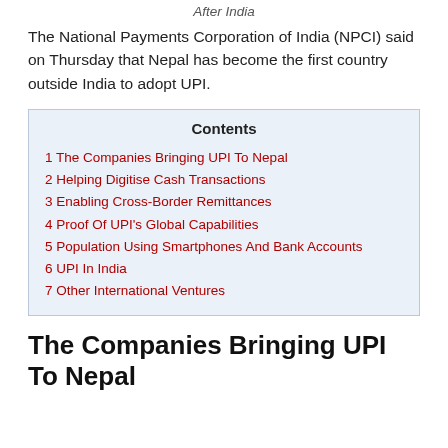After India
The National Payments Corporation of India (NPCI) said on Thursday that Nepal has become the first country outside India to adopt UPI.
| Contents |
| --- |
| 1 The Companies Bringing UPI To Nepal |
| 2 Helping Digitise Cash Transactions |
| 3 Enabling Cross-Border Remittances |
| 4 Proof Of UPI's Global Capabilities |
| 5 Population Using Smartphones And Bank Accounts |
| 6 UPI In India |
| 7 Other International Ventures |
The Companies Bringing UPI To Nepal